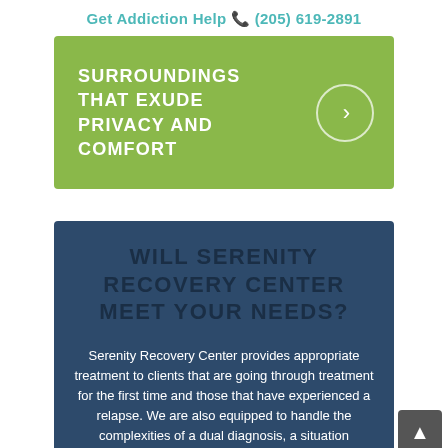Get Addiction Help ☎ (205) 619-2891
[Figure (infographic): Green banner with white bold uppercase text 'SURROUNDINGS THAT EXUDE PRIVACY AND COMFORT' and a circle with right arrow on the right side]
WILL SERENITY RECOVERY CENTER MEET YOUR NEEDS?
Serenity Recovery Center provides appropriate treatment to clients that are going through treatment for the first time and those that have experienced a relapse. We are also equipped to handle the complexities of a dual diagnosis, a situation